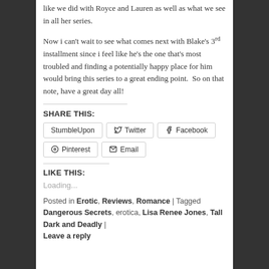like we did with Royce and Lauren as well as what we see in all her series.
Now i can't wait to see what comes next with Blake's 3rd installment since i feel like he's the one that's most troubled and finding a potentially happy place for him would bring this series to a great ending point.  So on that note, have a great day all!
SHARE THIS:
StumbleUpon  Twitter  Facebook  Pinterest  Email
LIKE THIS:
Loading...
Posted in Erotic, Reviews, Romance | Tagged Dangerous Secrets, erotica, Lisa Renee Jones, Tall Dark and Deadly | Leave a reply